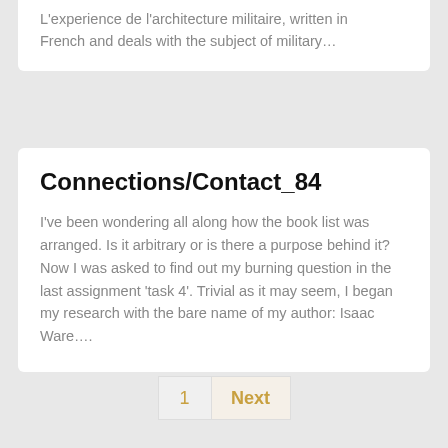L'experience de l'architecture militaire, written in French and deals with the subject of military…
Connections/Contact_84
I've been wondering all along how the book list was arranged. Is it arbitrary or is there a purpose behind it? Now I was asked to find out my burning question in the last assignment 'task 4'. Trivial as it may seem, I began my research with the bare name of my author: Isaac Ware….
1
Next